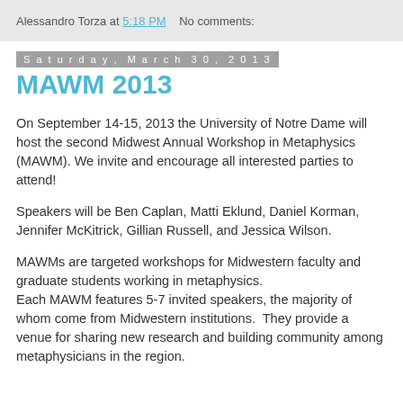Alessandro Torza at 5:18 PM   No comments:
Saturday, March 30, 2013
MAWM 2013
On September 14-15, 2013 the University of Notre Dame will host the second Midwest Annual Workshop in Metaphysics (MAWM). We invite and encourage all interested parties to attend!
Speakers will be Ben Caplan, Matti Eklund, Daniel Korman, Jennifer McKitrick, Gillian Russell, and Jessica Wilson.
MAWMs are targeted workshops for Midwestern faculty and graduate students working in metaphysics. Each MAWM features 5-7 invited speakers, the majority of whom come from Midwestern institutions.  They provide a venue for sharing new research and building community among metaphysicians in the region.